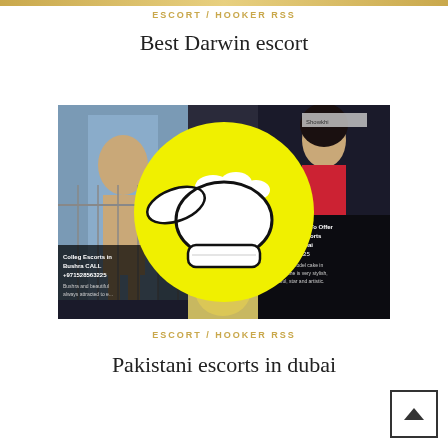ESCORT / HOOKER RSS
Best Darwin escort
[Figure (photo): Screenshot of escort website with images of women and a yellow cartoon hand pointing/beckoning overlaid in center]
ESCORT / HOOKER RSS
Pakistani escorts in dubai